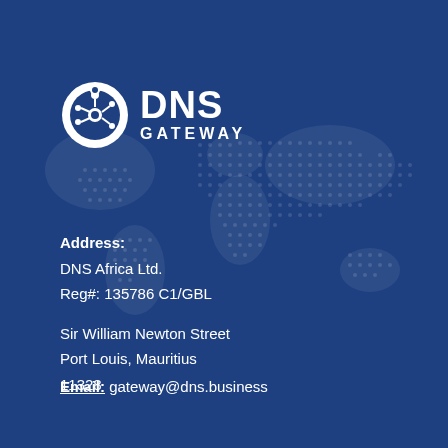[Figure (logo): DNS Gateway logo — white circle with circuit/node icon on left, bold white text DNS on top, GATEWAY below in spaced letters]
Address:
DNS Africa Ltd.
Reg#: 135786 C1/GBL

Sir William Newton Street
Port Louis, Mauritius
11328
Email: gateway@dns.business